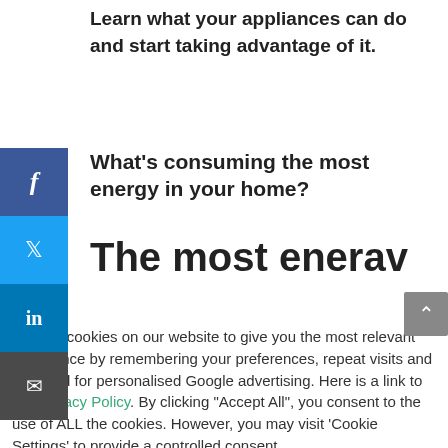Learn what your appliances can do and start taking advantage of it.
What's consuming the most energy in your home?
The most energy
ookies
We use cookies on our website to give you the most relevant experience by remembering your preferences, repeat visits and are used for personalised Google advertising. Here is a link to our Privacy Policy. By clicking "Accept All", you consent to the use of ALL the cookies. However, you may visit 'Cookie Settings' to provide a controlled consent.